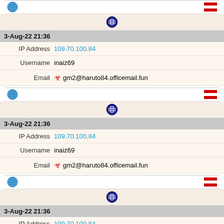| Field | Value |
| --- | --- |
| 3-Aug-22 21:36 |  |
| IP Address | 109.70.100.84 |
| Username | inaiz69 |
| Email | gm2@haruto84.officemail.fun |
| 3-Aug-22 21:36 |  |
| IP Address | 109.70.100.84 |
| Username | inaiz69 |
| Email | gm2@haruto84.officemail.fun |
| 3-Aug-22 21:36 |  |
| IP Address | 109.70.100.84 |
| Username | inaiz69 |